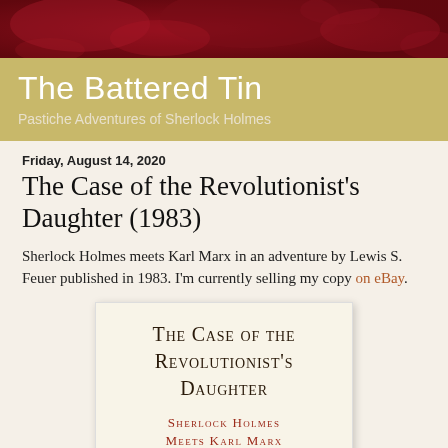[Figure (illustration): Dark red decorative banner with floral/damask pattern at top of page]
The Battered Tin
Pastiche Adventures of Sherlock Holmes
Friday, August 14, 2020
The Case of the Revolutionist's Daughter (1983)
Sherlock Holmes meets Karl Marx in an adventure by Lewis S. Feuer published in 1983. I'm currently selling my copy on eBay.
[Figure (photo): Book cover showing 'The Case of the Revolutionist's Daughter' with subtitle 'Sherlock Holmes Meets Karl Marx' in small caps typography on cream background]